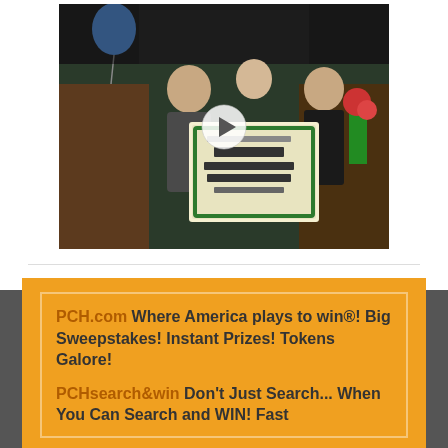[Figure (photo): A video thumbnail showing people holding a Publishers Clearing House prize winner certificate. Two people and a woman are visible. A play button overlay is shown in the center of the image.]
PCH.com Where America plays to win®! Big Sweepstakes! Instant Prizes! Tokens Galore!
PCHsearch&win Don't Just Search... When You Can Search and WIN! Fast